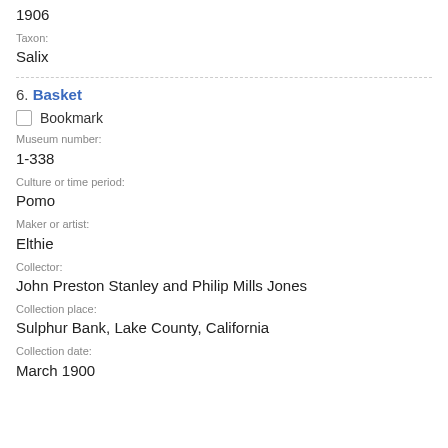1906
Taxon:
Salix
6. Basket
Bookmark
Museum number:
1-338
Culture or time period:
Pomo
Maker or artist:
Elthie
Collector:
John Preston Stanley and Philip Mills Jones
Collection place:
Sulphur Bank, Lake County, California
Collection date:
March 1900